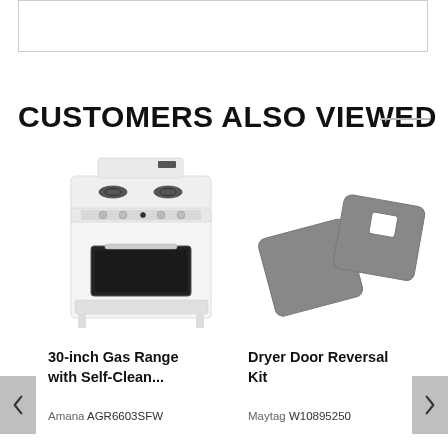[Figure (other): Top banner placeholder image with light border]
CUSTOMERS ALSO VIEWED
[Figure (photo): White Amana 30-inch gas range with self-clean oven, four burners visible, black oven window]
[Figure (photo): Maytag dryer door reversal kit showing two grey metal panels with cutout holes]
30-inch Gas Range with Self-Clean...
Dryer Door Reversal Kit
Amana AGR6603SFW
Maytag W10895250